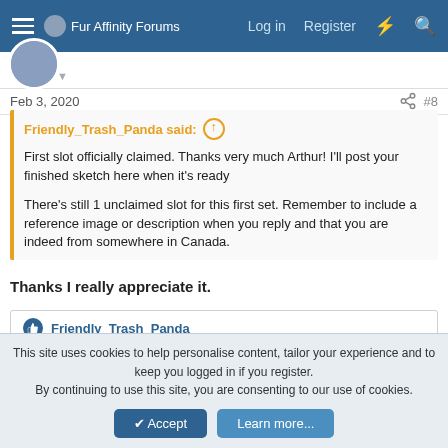Fur Affinity Forums  Log in  Register
Feb 3, 2020  #8
Friendly_Trash_Panda said: ↑

First slot officially claimed. Thanks very much Arthur! I'll post your finished sketch here when it's ready

There's still 1 unclaimed slot for this first set. Remember to include a reference image or description when you reply and that you are indeed from somewhere in Canada.
Thanks I really appreciate it.
Friendly_Trash_Panda
This site uses cookies to help personalise content, tailor your experience and to keep you logged in if you register.
By continuing to use this site, you are consenting to our use of cookies.